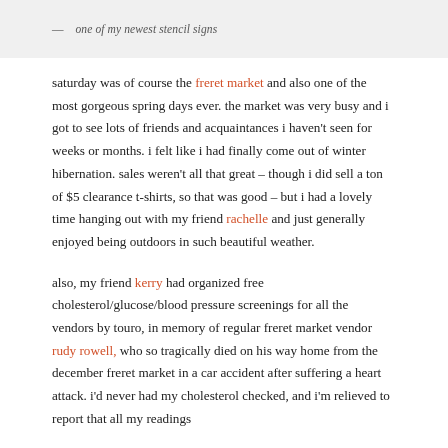— one of my newest stencil signs
saturday was of course the freret market and also one of the most gorgeous spring days ever. the market was very busy and i got to see lots of friends and acquaintances i haven't seen for weeks or months. i felt like i had finally come out of winter hibernation. sales weren't all that great – though i did sell a ton of $5 clearance t-shirts, so that was good – but i had a lovely time hanging out with my friend rachelle and just generally enjoyed being outdoors in such beautiful weather.
also, my friend kerry had organized free cholesterol/glucose/blood pressure screenings for all the vendors by touro, in memory of regular freret market vendor rudy rowell, who so tragically died on his way home from the december freret market in a car accident after suffering a heart attack. i'd never had my cholesterol checked, and i'm relieved to report that all my readings